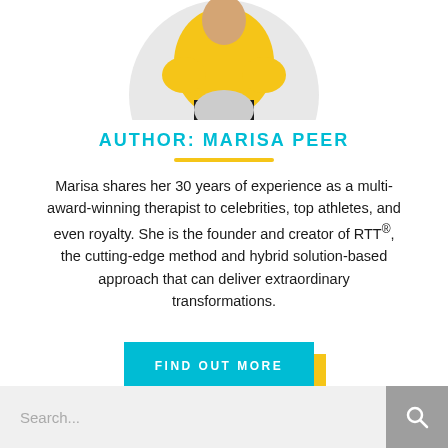[Figure (photo): Circular cropped photo of a person wearing a yellow top against a light background, visible from waist up.]
AUTHOR: MARISA PEER
Marisa shares her 30 years of experience as a multi-award-winning therapist to celebrities, top athletes, and even royalty. She is the founder and creator of RTT®, the cutting-edge method and hybrid solution-based approach that can deliver extraordinary transformations.
FIND OUT MORE
Search...